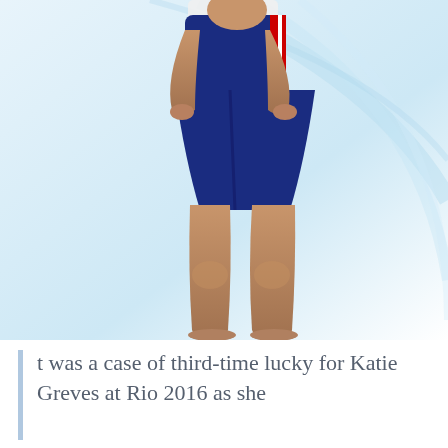[Figure (photo): Photograph of an athlete (Katie Greves) wearing a navy blue rowing unitard/shorts with red and white stripe detail on the side, standing barefoot against a light blue abstract background.]
t was a case of third-time lucky for Katie Greves at Rio 2016 as she [continues below]